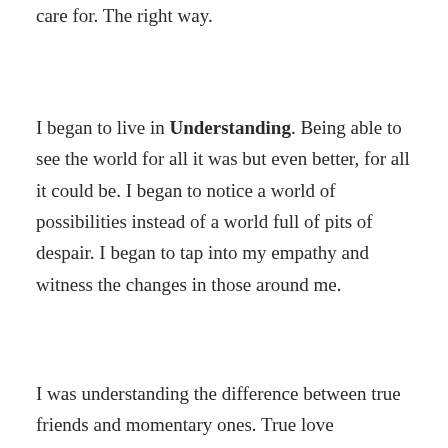care for. The right way.
I began to live in Understanding. Being able to see the world for all it was but even better, for all it could be. I began to notice a world of possibilities instead of a world full of pits of despair. I began to tap into my empathy and witness the changes in those around me.
I was understanding the difference between true friends and momentary ones. True love